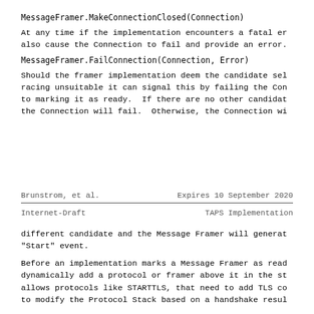MessageFramer.MakeConnectionClosed(Connection)
At any time if the implementation encounters a fatal er
also cause the Connection to fail and provide an error.
MessageFramer.FailConnection(Connection, Error)
Should the framer implementation deem the candidate sel
racing unsuitable it can signal this by failing the Con
to marking it as ready.  If there are no other candidat
the Connection will fail.  Otherwise, the Connection wi
Brunstrom, et al.        Expires 10 September 2020
Internet-Draft                    TAPS Implementation
different candidate and the Message Framer will generat
"Start" event.
Before an implementation marks a Message Framer as read
dynamically add a protocol or framer above it in the st
allows protocols like STARTTLS, that need to add TLS co
to modify the Protocol Stack based on a handshake resul